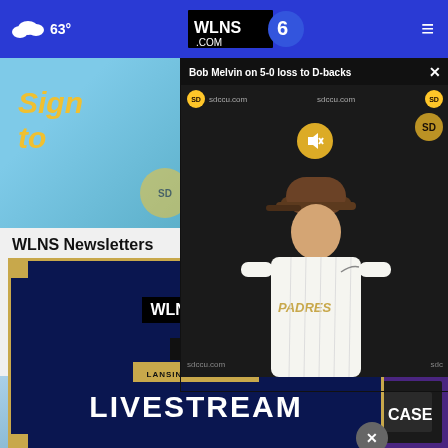63° WLNS.COM 6
[Figure (screenshot): Sign to (newsletter signup ad with teal background and gold italic text)]
[Figure (screenshot): Bob Melvin on 5-0 loss to D-backs - video popup showing Padres manager at press conference with sdccu.com branding]
WLNS Newsletters
[Figure (screenshot): WLNS 6 TV Lansing-Jackson Livestream card with dark navy background and gold border]
6 News Livestream
[Figure (screenshot): Bottom advertisement: WE'RE HERE TO LEND A HAND - Apply Now - CASE, with house and solar panel image and $880 Off Closing Costs sticker]